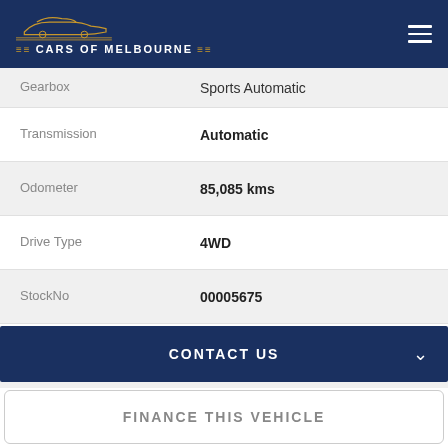Cars of Melbourne
| Field | Value |
| --- | --- |
| Gearbox | Sports Automatic |
| Transmission | Automatic |
| Odometer | 85,085 kms |
| Drive Type | 4WD |
| StockNo | 00005675 |
| VIN | KNAPR81C5H7212619 |
| Fuel Consumption (Urban) | 11.8L/100km |
| Fuel Consumption | 6.7L/100km |
| Fuel Consumption | 6.3L/100km |
CONTACT US
FINANCE THIS VEHICLE